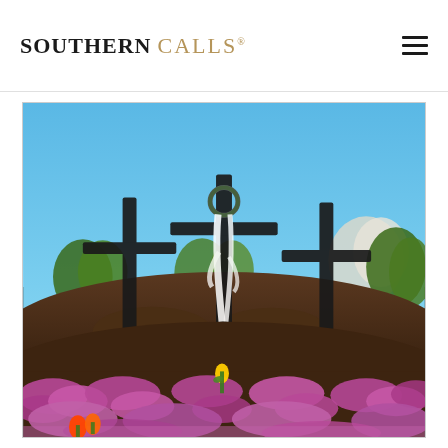SOUTHERN CALLS
[Figure (photo): Outdoor photograph of three large dark wooden crosses on a hillside. The center cross is decorated with a white ribbon/sash and a wreath. Pink/purple flowering ground cover and tulips are in the foreground. Trees and a blue sky are visible in the background. Easter or religious garden scene.]